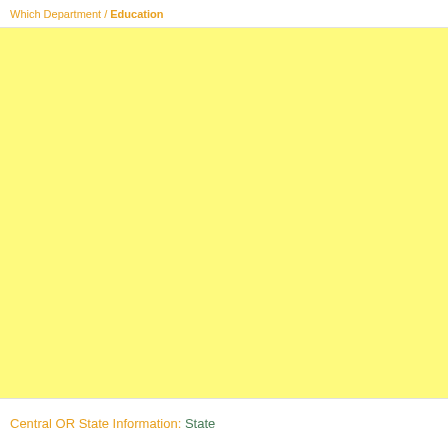Which Department / Education
[Figure (other): Large yellow/light yellow blank rectangular area filling most of the page]
Central OR State Information: State